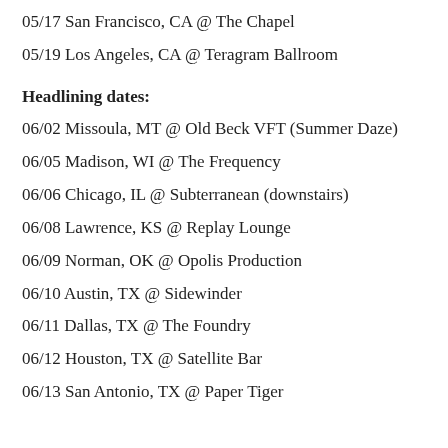05/17 San Francisco, CA @ The Chapel
05/19 Los Angeles, CA @ Teragram Ballroom
Headlining dates:
06/02 Missoula, MT @ Old Beck VFT (Summer Daze)
06/05 Madison, WI @ The Frequency
06/06 Chicago, IL @ Subterranean (downstairs)
06/08 Lawrence, KS @ Replay Lounge
06/09 Norman, OK @ Opolis Production
06/10 Austin, TX @ Sidewinder
06/11 Dallas, TX @ The Foundry
06/12 Houston, TX @ Satellite Bar
06/13 San Antonio, TX @ Paper Tiger